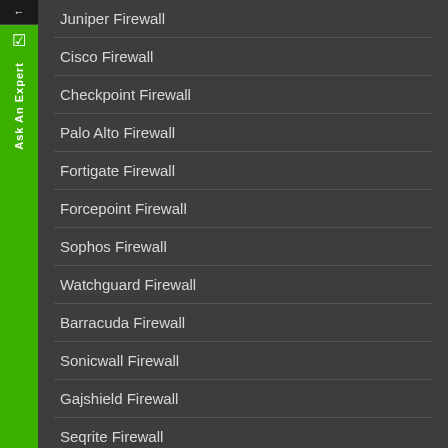Juniper Firewall
Cisco Firewall
Checkpoint Firewall
Palo Alto Firewall
Fortigate Firewall
Forcepoint Firewall
Sophos Firewall
Watchguard Firewall
Barracuda Firewall
Sonicwall Firewall
Gajshield Firewall
Seqrite Firewall
SIEM SECURITY SOFTWARE TOOLS